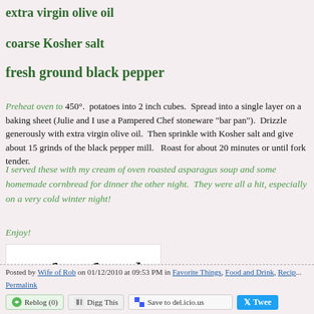extra virgin olive oil
coarse Kosher salt
fresh ground black pepper
Preheat oven to 450°.  potatoes into 2 inch cubes.  Spread into a single layer on a baking sheet (Julie and I use a Pampered Chef stoneware "bar pan").  Drizzle generously with extra virgin olive oil.  Then sprinkle with Kosher salt and give about 15 grinds of the black pepper mill.   Roast for about 20 minutes or until fork tender.
I served these with my cream of oven roasted asparagus soup and some homemade cornbread for dinner the other night.  They were all a hit, especially on a very cold winter night!
Enjoy!
[Figure (illustration): Cursive signature reading 'Wife of Rob']
Posted by Wife of Rob on 01/12/2010 at 09:53 PM in Favorite Things, Food and Drink, Recip... Permalink | Reblog (0) | Digg This | Save to del.icio.us | Tweet